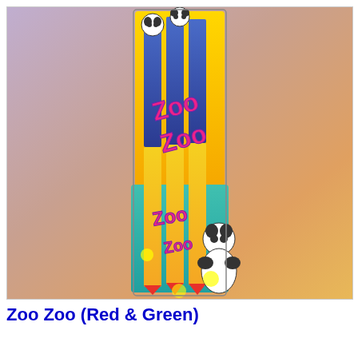[Figure (photo): Product photo of Zoo Zoo (Red & Green) pencil set featuring Kung Fu Panda branding. Shows a pack of 3 pencils with yellow lower halves and blue upper halves, with 'Zoo Zoo' text in pink/purple and panda cartoon characters on yellow and teal background. Background of the photo is a lavender-to-orange gradient.]
Zoo Zoo (Red & Green)